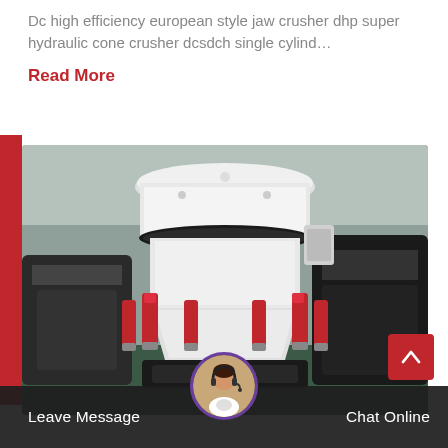Dc high efficiency european style jaw crusher dhp super hydraulic cone crusher dcsdch single cylind…
Read More
[Figure (photo): Industrial hydraulic cone crusher machine displayed in a factory/warehouse setting. The machine is white with red hydraulic cylinders around its base, surrounded by other heavy industrial equipment.]
Leave Message
Chat Online